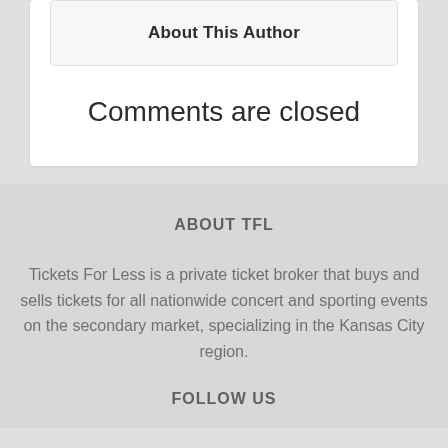About This Author
Comments are closed
ABOUT TFL
Tickets For Less is a private ticket broker that buys and sells tickets for all nationwide concert and sporting events on the secondary market, specializing in the Kansas City region.
FOLLOW US